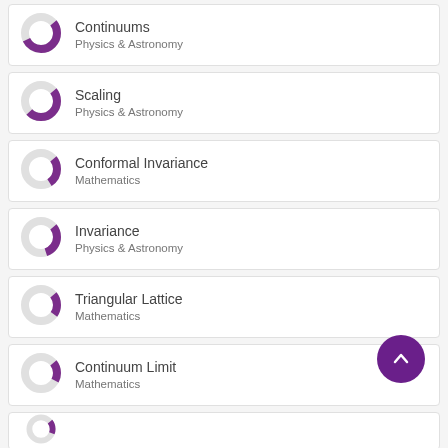Continuums
Physics & Astronomy
Scaling
Physics & Astronomy
Conformal Invariance
Mathematics
Invariance
Physics & Astronomy
Triangular Lattice
Mathematics
Continuum Limit
Mathematics
(partial)